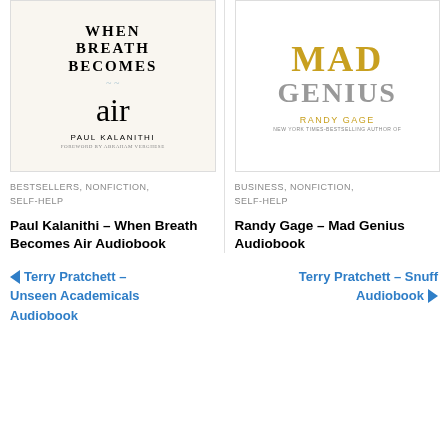[Figure (illustration): Book cover of 'When Breath Becomes Air' by Paul Kalanithi with foreword by Abraham Verghese]
[Figure (illustration): Book cover of 'Mad Genius' by Randy Gage, New York Times-bestselling author]
BESTSELLERS, NONFICTION, SELF-HELP
BUSINESS, NONFICTION, SELF-HELP
Paul Kalanithi – When Breath Becomes Air Audiobook
Randy Gage – Mad Genius Audiobook
❮ Terry Pratchett – Unseen Academicals Audiobook
Terry Pratchett – Snuff Audiobook ❯